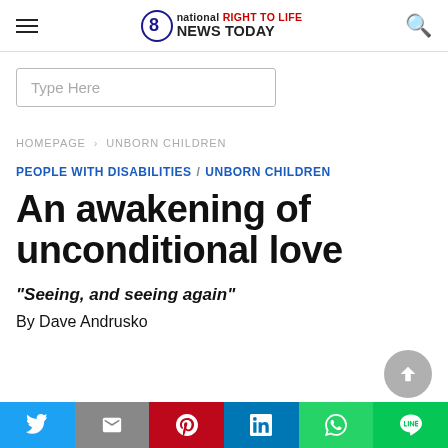national RIGHT TO LIFE NEWS TODAY
Type Here
HOMEPAGE > UNBORN CHILDREN
PEOPLE WITH DISABILITIES / UNBORN CHILDREN
An awakening of unconditional love
“Seeing, and seeing again”
By Dave Andrusko